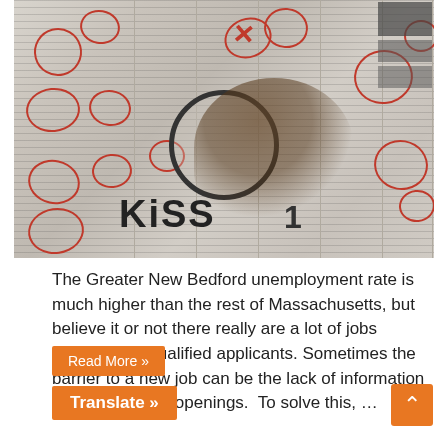[Figure (photo): A hand holding a magnifying glass over a newspaper job listings page, with multiple job ads circled in red/orange marker. The word KISS is visible at the bottom of the newspaper page.]
The Greater New Bedford unemployment rate is much higher than the rest of Massachusetts, but believe it or not there really are a lot of jobs available for qualified applicants. Sometimes the barrier to a new job can be the lack of information on available job openings.  To solve this, …
Read More »
Translate »